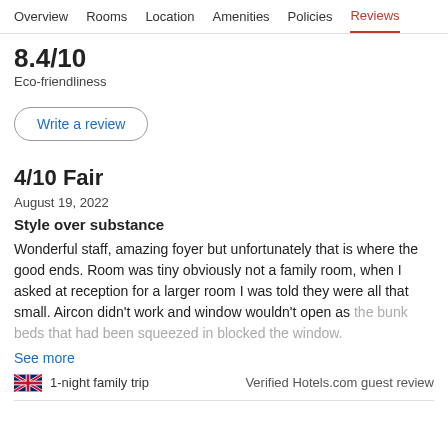Overview  Rooms  Location  Amenities  Policies  Reviews
8.4/10
Eco-friendliness
Write a review
4/10 Fair
August 19, 2022
Style over substance
Wonderful staff, amazing foyer but unfortunately that is where the good ends. Room was tiny obviously not a family room, when I asked at reception for a larger room I was told they were all that small. Aircon didn't work and window wouldn't open as the bunk beds that had been squeezed in blocked the window.
See more
🇬🇧 1-night family trip
Verified Hotels.com guest review